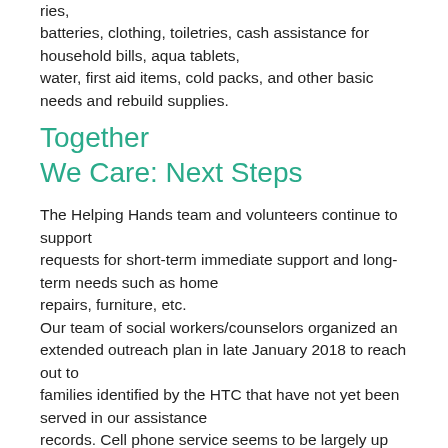ries,
batteries, clothing, toiletries, cash assistance for household bills, aqua tablets,
water, first aid items, cold packs, and other basic needs and rebuild supplies.
Together
We Care: Next Steps
The Helping Hands team and volunteers continue to support
requests for short-term immediate support and long-term needs such as home
repairs, furniture, etc.
Our team of social workers/counselors organized an extended outreach plan in late January 2018 to reach out to
families identified by the HTC that have not yet been served in our assistance
records. Cell phone service seems to be largely up